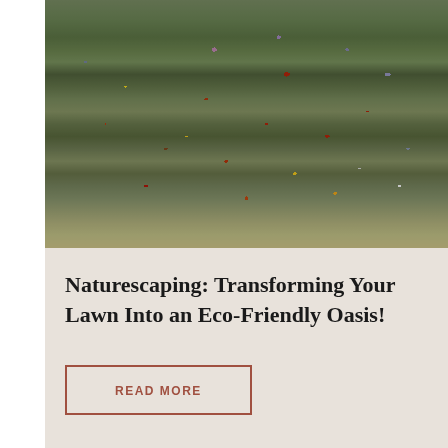[Figure (photo): A lush wildflower meadow with red poppies, yellow flowers, blue and purple blooms, white daisies, and tall green grasses photographed in a naturalistic style with muted, earthy tones.]
Naturescaping: Transforming Your Lawn Into an Eco-Friendly Oasis!
READ MORE